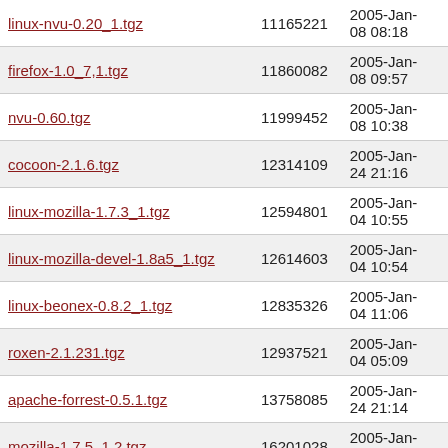| Filename | Size | Date |
| --- | --- | --- |
| linux-nvu-0.20_1.tgz | 11165221 | 2005-Jan-08 08:18 |
| firefox-1.0_7,1.tgz | 11860082 | 2005-Jan-08 09:57 |
| nvu-0.60.tgz | 11999452 | 2005-Jan-08 10:38 |
| cocoon-2.1.6.tgz | 12314109 | 2005-Jan-24 21:16 |
| linux-mozilla-1.7.3_1.tgz | 12594801 | 2005-Jan-04 10:55 |
| linux-mozilla-devel-1.8a5_1.tgz | 12614603 | 2005-Jan-04 10:54 |
| linux-beonex-0.8.2_1.tgz | 12835326 | 2005-Jan-04 11:06 |
| roxen-2.1.231.tgz | 12937521 | 2005-Jan-04 05:09 |
| apache-forrest-0.5.1.tgz | 13758085 | 2005-Jan-24 21:14 |
| mozilla-1.7.5_1,2.tgz | 16201028 | 2005-Jan-08 09:38 |
| jetspeed-1.5.tgz | 18525487 | 2005-Jan-24 21:31 |